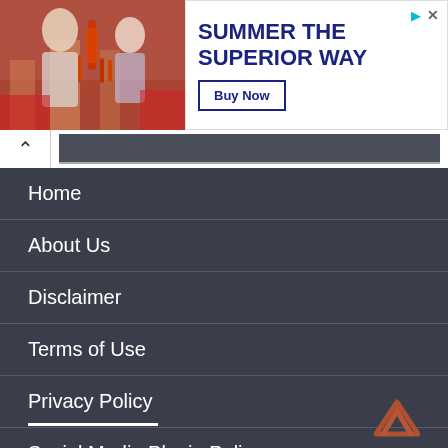[Figure (photo): Advertisement banner: left side shows a photo of people at a bar/party with beer bottles; right side shows text 'SUMMER THE SUPERIOR WAY' in dark blue with a 'Buy Now' button, play and close icons]
Home
About Us
Disclaimer
Terms of Use
Privacy Policy
Social Media Plugin Policy
Contact Us